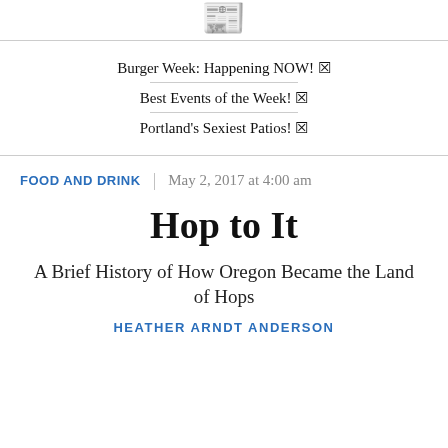WILLAMETTE WEEK
Burger Week: Happening NOW! ☒
Best Events of the Week! ☒
Portland's Sexiest Patios! ☒
FOOD AND DRINK | May 2, 2017 at 4:00 am
Hop to It
A Brief History of How Oregon Became the Land of Hops
HEATHER ARNDT ANDERSON